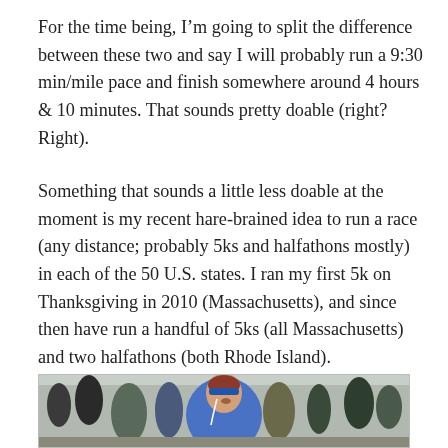For the time being, I'm going to split the difference between these two and say I will probably run a 9:30 min/mile pace and finish somewhere around 4 hours & 10 minutes. That sounds pretty doable (right? Right).
Something that sounds a little less doable at the moment is my recent hare-brained idea to run a race (any distance; probably 5ks and halfathons mostly) in each of the 50 U.S. states. I ran my first 5k on Thanksgiving in 2010 (Massachusetts), and since then have run a handful of 5ks (all Massachusetts) and two halfathons (both Rhode Island).
[Figure (photo): A woman wearing a blue jacket and blue headband, with earbuds in, smiling or making an expression while running or at a race event. Crowd of people visible in the background outdoors.]